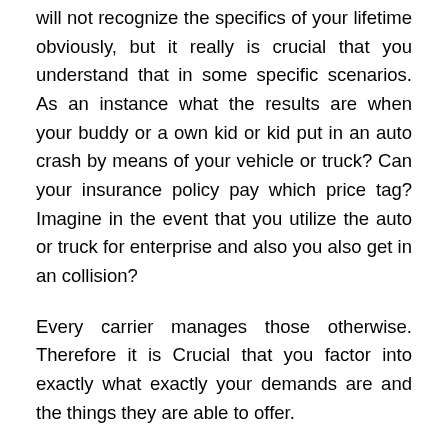will not recognize the specifics of your lifetime obviously, but it really is crucial that you understand that in some specific scenarios. As an instance what the results are when your buddy or a own kid or kid put in an auto crash by means of your vehicle or truck? Can your insurance policy pay which price tag? Imagine in the event that you utilize the auto or truck for enterprise and also you also get in an collision?
Every carrier manages those otherwise. Therefore it is Crucial that you factor into exactly what exactly your demands are and the things they are able to offer.
What's my allowance be?
Based on the Kind of coverage You're Becoming you could possibly have to provide a deductible up-front. But, you should also place it also. Exactly what a deductible would be really is the sum you want to pay for upfront until the insurance policy